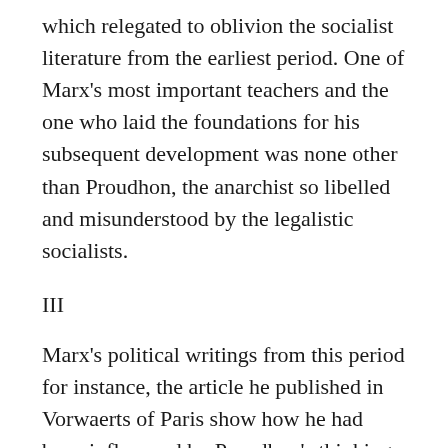which relegated to oblivion the socialist literature from the earliest period. One of Marx's most important teachers and the one who laid the foundations for his subsequent development was none other than Proudhon, the anarchist so libelled and misunderstood by the legalistic socialists.
III
Marx's political writings from this period for instance, the article he published in Vorwaerts of Paris show how he had been influenced by Proudhon's thinking and even by his anarchist ideas.
Vorwaerts was a periodical which appeared in the French capital during the year 1844 under the direction of Heinrich Bernstein. Initially it was merely liberal in outlook. But later on, after the disappearance